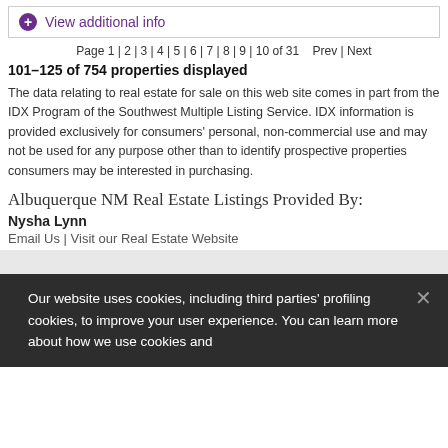View additional info
Page 1 | 2 | 3 | 4 | 5 | 6 | 7 | 8 | 9 | 10 of 31   Prev | Next
101–125 of 754 properties displayed
The data relating to real estate for sale on this web site comes in part from the IDX Program of the Southwest Multiple Listing Service. IDX information is provided exclusively for consumers' personal, non-commercial use and may not be used for any purpose other than to identify prospective properties consumers may be interested in purchasing.
Albuquerque NM Real Estate Listings Provided By:
Nysha Lynn
Email Us | Visit our Real Estate Website
Our website uses cookies, including third parties' profiling cookies, to improve your user experience. You can learn more about how we use cookies and